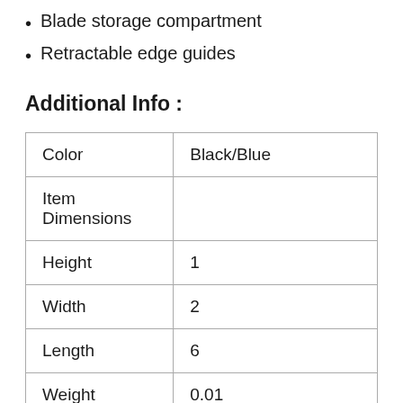Blade storage compartment
Retractable edge guides
Additional Info :
| Color | Black/Blue |
| Item Dimensions |  |
| Height | 1 |
| Width | 2 |
| Length | 6 |
| Weight | 0.01 |
| Release Date | 2010-08-01T00:00:01Z |